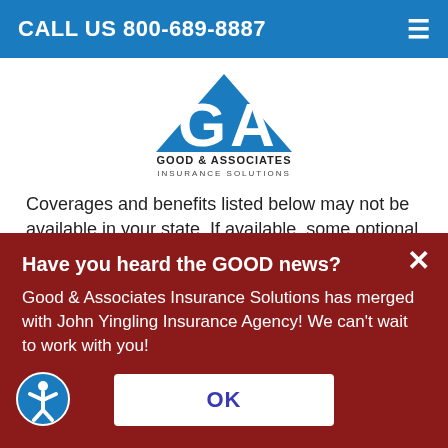CALL US 800-689-8887
[Figure (logo): Good & Associates Insurance Solutions logo — blue GA monogram with triangle above, bold text GOOD & ASSOCIATES INSURANCE SOLUTIONS below]
Coverages and benefits listed below may not be available in your state. If available, some optional coverages and benefits might be offered at an additional charge. Contact Good & Associates, Inc. today to learn more.
A B C D E F G H I J K L M N O P
Have you heard the GOOD news?
Good & Associates Insurance Solutions has merged with John Yingling Insurance Agency! We can't wait to work with you!
OK